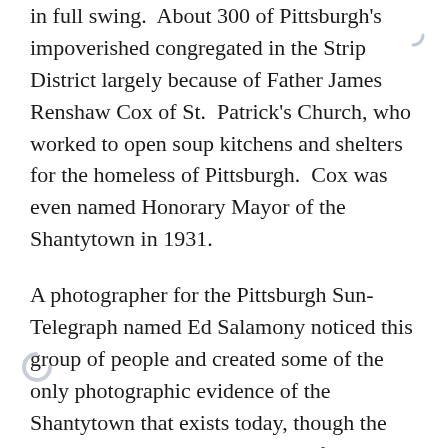in full swing.  About 300 of Pittsburgh's impoverished congregated in the Strip District largely because of Father James Renshaw Cox of St.  Patrick's Church, who worked to open soup kitchens and shelters for the homeless of Pittsburgh.  Cox was even named Honorary Mayor of the Shantytown in 1931.
A photographer for the Pittsburgh Sun-Telegraph named Ed Salamony noticed this group of people and created some of the only photographic evidence of the Shantytown that exists today, though the photos were never published. In fact, Salamony never even developed the photos, according to Bruce Klein, Founder of the